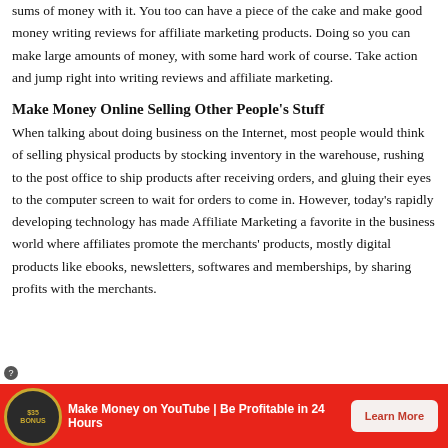sums of money with it. You too can have a piece of the cake and make good money writing reviews for affiliate marketing products. Doing so you can make large amounts of money, with some hard work of course. Take action and jump right into writing reviews and affiliate marketing.
Make Money Online Selling Other People's Stuff
When talking about doing business on the Internet, most people would think of selling physical products by stocking inventory in the warehouse, rushing to the post office to ship products after receiving orders, and gluing their eyes to the computer screen to wait for orders to come in. However, today's rapidly developing technology has made Affiliate Marketing a favorite in the business world where affiliates promote the merchants' products, mostly digital products like ebooks, newsletters, softwares and memberships, by sharing profits with the merchants.
[Figure (infographic): Red advertisement bar at bottom with badge logo, text 'Make Money on YouTube | Be Profitable in 24 Hours' and 'Learn More' button]